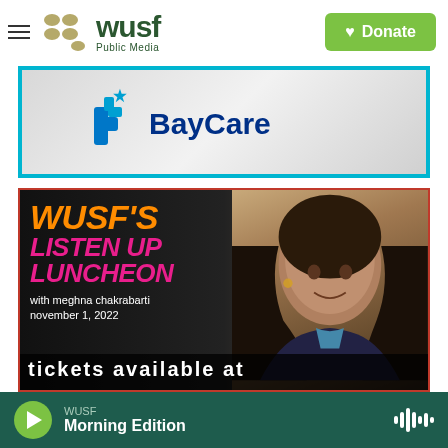WUSF Public Media — Donate
[Figure (logo): BayCare health system logo with blue cross icon and text 'BayCare' in dark blue, displayed inside a cyan-bordered advertisement banner]
[Figure (photo): WUSF's Listen Up Luncheon promotional image featuring bold orange and pink text 'WUSF'S LISTEN UP LUNCHEON' with subtext 'with meghna chakrabarti november 1, 2022' and a photo of a woman (Meghna Chakrabarti) on a dark background]
WUSF Morning Edition